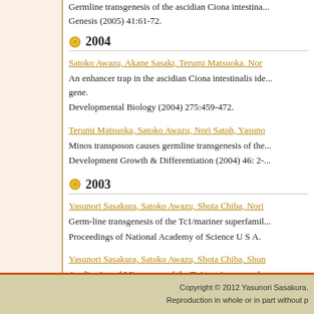Germline transgenesis of the ascidian Ciona intestinalis. Genesis (2005) 41:61-72.
2004
Satoko Awazu, Akane Sasaki, Terumi Matsuoka, Nor...
An enhancer trap in the ascidian Ciona intestinalis identifies enhancers of its Musashi orthologous gene.
Developmental Biology (2004) 275:459-472.
Terumi Matsuoka, Satoko Awazu, Nori Satoh, Yasuno...
Minos transposon causes germline transgenesis of the ascidian Ciona intestinalis.
Development Growth & Differentiation (2004) 46: 24-...
2003
Yasunori Sasakura, Satoko Awazu, Shota Chiba, Nori...
Germ-line transgenesis of the Tc1/mariner superfamily transposon Minos in Ciona intestinalis.
Proceedings of National Academy of Science U S A.
Yasunori Sasakura, Satoko Awazu, Shota Chiba, Shun...
Application of Minos, one of the Tc1/mariner superfamily transposable elements, as a tool for insertional mutagenesis.
Gene (2003) 308:11-20.
Copyright © 2012 Yasunori Sasakura.
Reproduction in whole or in part without p